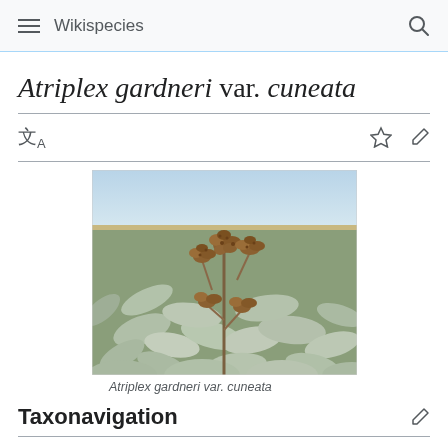Wikispecies
Atriplex gardneri var. cuneata
[Figure (photo): Photograph of Atriplex gardneri var. cuneata plant in a desert/arid landscape, showing silvery-green leaves and brownish flower/seed clusters on stems, taken outdoors with horizon visible in background.]
Atriplex gardneri var. cuneata
Taxonavigation